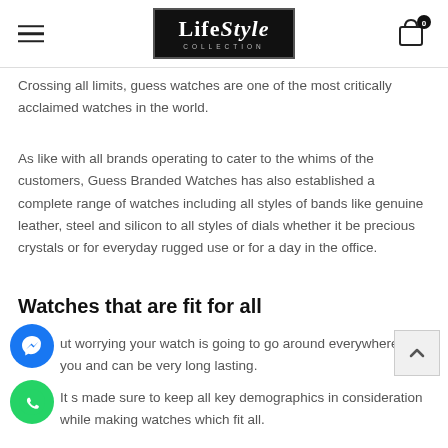LifeStyle COLLECTION
Crossing all limits, guess watches are one of the most critically acclaimed watches in the world.
As like with all brands operating to cater to the whims of the customers, Guess Branded Watches has also established a complete range of watches including all styles of bands like genuine leather, steel and silicon to all styles of dials whether it be precious crystals or for everyday rugged use or for a day in the office.
Watches that are fit for all
ut worrying your watch is going to go around everywhere with you and can be very long lasting.
It s made sure to keep all key demographics in consideration while making watches which fit all.